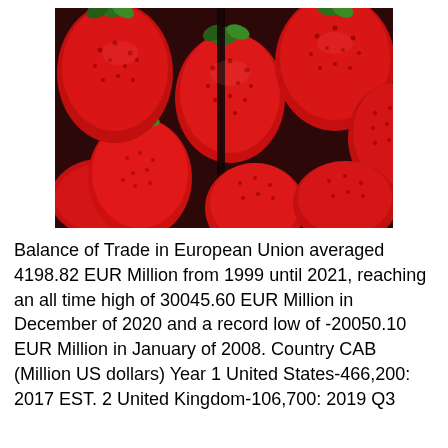[Figure (photo): Close-up photo of fresh red strawberries piled together, showing their texture and green leaves, displayed in a container with a dark divider visible in the center.]
Balance of Trade in European Union averaged 4198.82 EUR Million from 1999 until 2021, reaching an all time high of 30045.60 EUR Million in December of 2020 and a record low of -20050.10 EUR Million in January of 2008. Country CAB (Million US dollars) Year 1 United States-466,200: 2017 EST. 2 United Kingdom-106,700: 2019 Q3